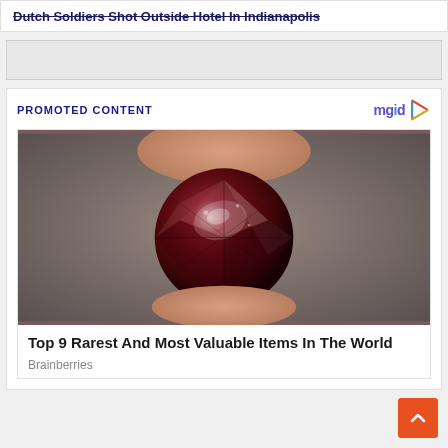Dutch Soldiers Shot Outside Hotel In Indianapolis
[Figure (other): Advertisement placeholder block (gray background)]
PROMOTED CONTENT
[Figure (photo): A deep red faceted gemstone (garnet) held between two fingers against a gray background]
Top 9 Rarest And Most Valuable Items In The World
Brainberries